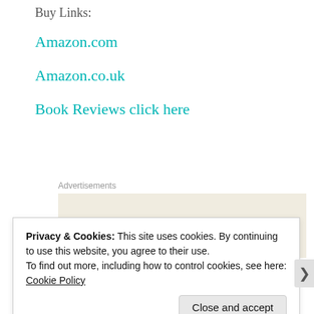Buy Links:
Amazon.com
Amazon.co.uk
Book Reviews click here
Advertisements
[Figure (other): Advertisement box with beige background showing the word 'Professionally' in large serif font]
Privacy & Cookies: This site uses cookies. By continuing to use this website, you agree to their use.
To find out more, including how to control cookies, see here:
Cookie Policy
Close and accept